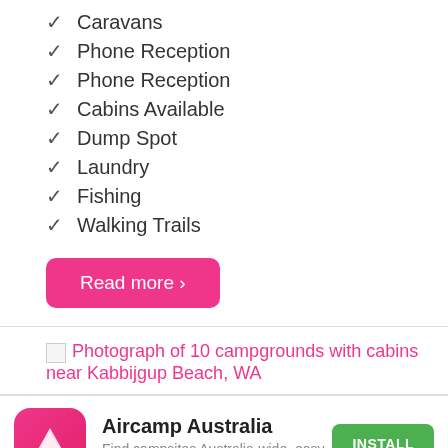✓ Caravans
✓ Phone Reception
✓ Phone Reception
✓ Cabins Available
✓ Dump Spot
✓ Laundry
✓ Fishing
✓ Walking Trails
Read more ›
[Figure (other): Broken image placeholder followed by link: Photograph of 10 campgrounds with cabins near Kabbijgup Beach, WA]
[Figure (logo): Aircamp Australia app icon — pink rounded square with white triangle]
Aircamp Australia
Find campsites Australia-wide, easy & free.
INSTALL